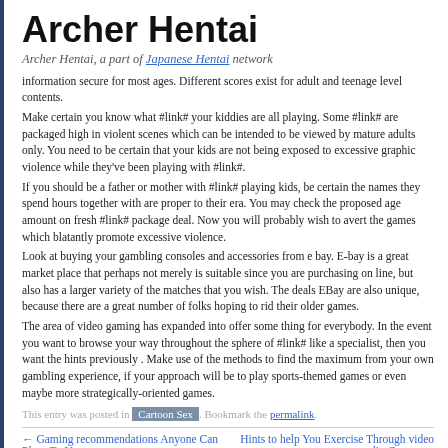Archer Hentai
Archer Hentai, a part of Japanese Hentai network
information secure for most ages. Different scores exist for adult and teenage level contents.
Make certain you know what #link# your kiddies are all playing. Some #link# are packaged high in violent scenes which can be intended to be viewed by mature adults only. You need to be certain that your kids are not being exposed to excessive graphic violence while they've been playing with #link#.
If you should be a father or mother with #link# playing kids, be certain the names they spend hours together with are proper to their era. You may check the proposed age amount on fresh #link# package deal. Now you will probably wish to avert the games which blatantly promote excessive violence.
Look at buying your gambling consoles and accessories from e bay. E-bay is a great market place that perhaps not merely is suitable since you are purchasing on line, but also has a larger variety of the matches that you wish. The deals EBay are also unique, because there are a great number of folks hoping to rid their older games.
The area of video gaming has expanded into offer some thing for everybody. In the event you want to browse your way throughout the sphere of #link# like a specialist, then you want the hints previously . Make use of the methods to find the maximum from your own gambling experience, if your approach will be to play sports-themed games or even maybe more strategically-oriented games.
This entry was posted in Cartoon Sex. Bookmark the permalink.
← Gaming recommendations Anyone Can Place To Use
Hints to help You Exercise Through video clip Games →
Categories